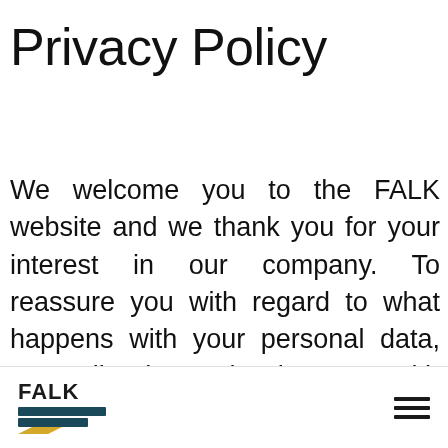Privacy Policy
We welcome you to the FALK website and we thank you for your interest in our company. To reassure you with regard to what happens with your personal data, we outline here what happens with the data and which security measures we have in place. We also inform you about your legal rights in connection with the processing of
FALK logo with hamburger menu